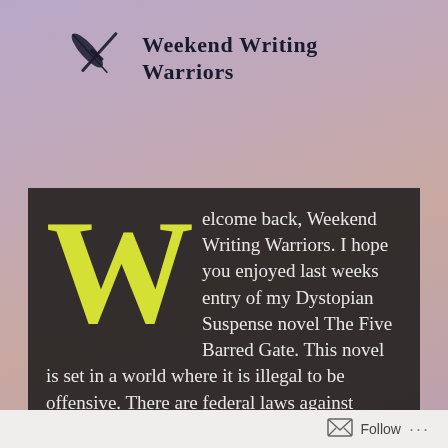[Figure (logo): Weekend Writing Warriors logo: crossed sword/quill with text 'Weekend Writing Warriors']
Weekend Writing Warriors
Welcome back, Weekend Writing Warriors. I hope you enjoyed last weeks entry of my Dystopian Suspense novel The Five Barred Gate. This novel is set in a world where it is illegal to be offensive. There are federal laws against saying certain things, especially
Follow